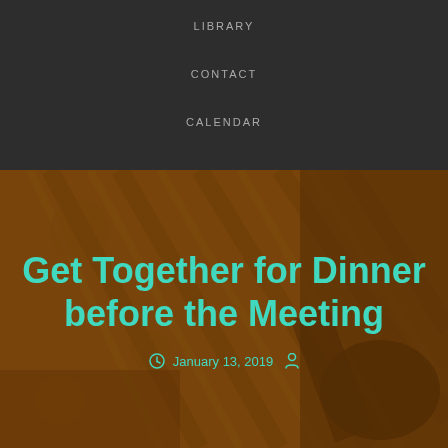LIBRARY
CONTACT
CALENDAR
Get Together for Dinner before the Meeting
January 13, 2019